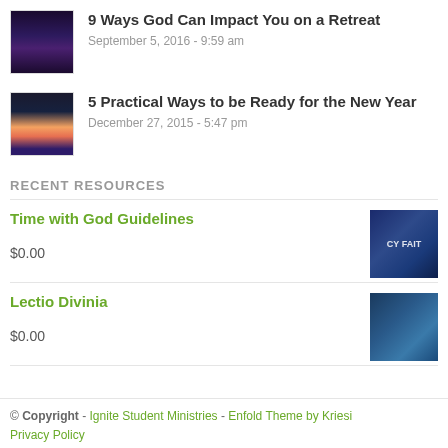9 Ways God Can Impact You on a Retreat
September 5, 2016 - 9:59 am
5 Practical Ways to be Ready for the New Year
December 27, 2015 - 5:47 pm
RECENT RESOURCES
Time with God Guidelines
$0.00
Lectio Divinia
$0.00
© Copyright - Ignite Student Ministries - Enfold Theme by Kriesi
Privacy Policy